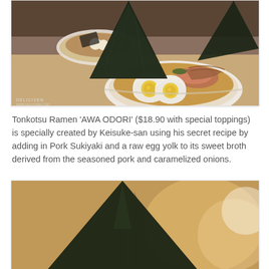[Figure (photo): Close-up photo of Tonkotsu Ramen bowl with two halved soft-boiled eggs, large triangular nori (seaweed) pieces, sliced pork, and broth. A second bowl is visible in the background. A watermark reading 'DELICIVEN' appears in the bottom-left corner.]
Tonkotsu Ramen 'AWA ODORI' ($18.90 with special toppings) is specially created by Keisuke-san using his secret recipe by adding in Pork Sukiyaki and a raw egg yolk to its sweet broth derived from the seasoned pork and caramelized onions.
[Figure (photo): Close-up photo of a large triangular nori (dried seaweed) piece standing upright, with a blurred warm-toned background.]